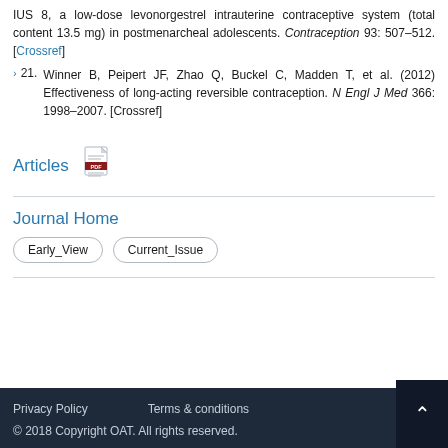IUS 8, a low-dose levonorgestrel intrauterine contraceptive system (total content 13.5 mg) in postmenarcheal adolescents. Contraception 93: 507–512. [Crossref]
21. Winner B, Peipert JF, Zhao Q, Buckel C, Madden T, et al. (2012) Effectiveness of long-acting reversible contraception. N Engl J Med 366: 1998–2007. [Crossref]
Articles
[Figure (other): PDF icon]
Journal Home
Early_View   Current_Issue
Privacy Policy   Terms & conditions   © 2018 Copyright OAT. All rights reserved.